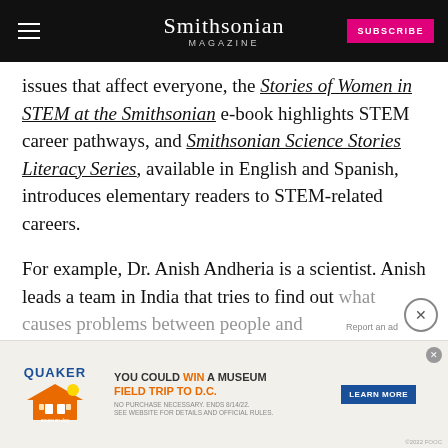Smithsonian MAGAZINE
issues that affect everyone, the Stories of Women in STEM at the Smithsonian e-book highlights STEM career pathways, and Smithsonian Science Stories Literacy Series, available in English and Spanish, introduces elementary readers to STEM-related careers.
For example, Dr. Anish Andheria is a scientist. Anish leads a team in India that tries to find out what causes problems between people and tigers... big brothers... and chemical engineering and loves to explore...
[Figure (screenshot): Advertisement banner: Quaker/Museum Day promotion — YOU COULD WIN A MUSEUM FIELD TRIP TO D.C. LEARN MORE button. No purchase necessary, ends 8/14/22.]